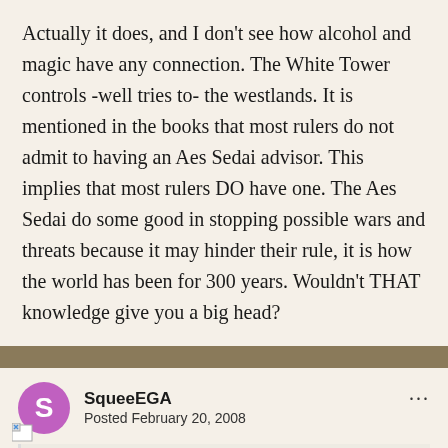Actually it does, and I don't see how alcohol and magic have any connection. The White Tower controls -well tries to- the westlands. It is mentioned in the books that most rulers do not admit to having an Aes Sedai advisor. This implies that most rulers DO have one. The Aes Sedai do some good in stopping possible wars and threats because it may hinder their rule, it is how the world has been for 300 years. Wouldn't THAT knowledge give you a big head?
SqueeEGA
Posted February 20, 2008
I can do magic so I should control the world?
I got drunk, thats why I crashed my car.